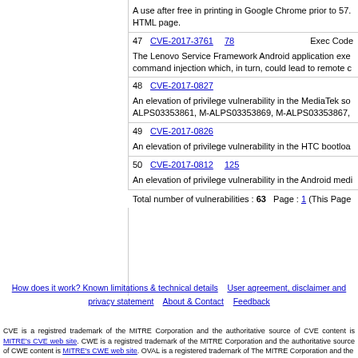A use after free in printing in Google Chrome prior to 57... HTML page.
| # | CVE | Score | Type |
| --- | --- | --- | --- |
| 47 | CVE-2017-3761 | 78 | Exec Code |
| 48 | CVE-2017-0827 |  |  |
| 49 | CVE-2017-0826 |  |  |
| 50 | CVE-2017-0812 | 125 |  |
The Lenovo Service Framework Android application exe... command injection which, in turn, could lead to remote c...
An elevation of privilege vulnerability in the MediaTek so... ALPS03353861, M-ALPS03353869, M-ALPS03353867,...
An elevation of privilege vulnerability in the HTC bootloa...
An elevation of privilege vulnerability in the Android medi...
Total number of vulnerabilities : 63   Page : 1 (This Page...
How does it work? Known limitations & technical details   User agreement, disclaimer and privacy statement   About & Contact   Feedback
CVE is a registred trademark of the MITRE Corporation and the authoritative source of CVE content is MITRE's CVE web site. CWE is a registred trademark of the MITRE Corporation and the authoritative source of CWE content is MITRE's CWE web site. OVAL is a registered trademark of The MITRE Corporation and the...